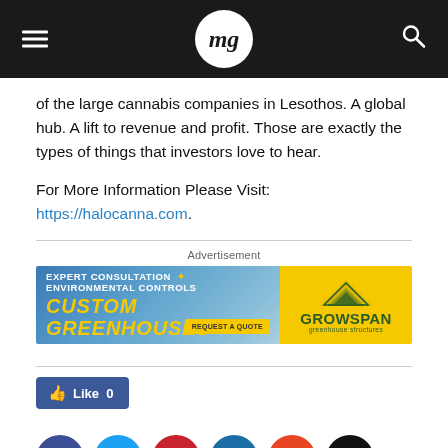mg
of the large cannabis companies in Lesothos. A global hub. A lift to revenue and profit. Those are exactly the types of things that investors love to hear.
For More Information Please Visit: https://halocanna.com.
Advertisement
[Figure (illustration): GrowSpan greenhouse structures advertisement banner. Left side shows a greenhouse building with text 'EXPERT CONSULTATION * ENVIRONMENTAL CONTROLS' and 'CUSTOM GREENHOUSES' with a 'REQUEST A QUOTE' button. Right side shows GrowSpan logo on yellow background.]
[Figure (illustration): Facebook Like button showing thumbs up icon and 'Like 0']
[Figure (illustration): Social media sharing icons row: Facebook (dark blue), Twitter (light blue), Pinterest (red), LinkedIn (blue), Reddit (orange-red), Email (black)]